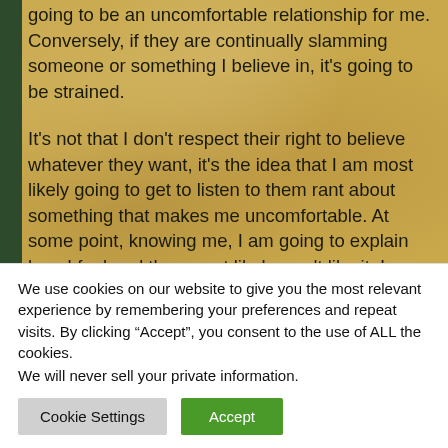going to be an uncomfortable relationship for me. Conversely, if they are continually slamming someone or something I believe in, it's going to be strained.
It's not that I don't respect their right to believe whatever they want, it's the idea that I am most likely going to get to listen to them rant about something that makes me uncomfortable. At some point, knowing me, I am going to explain how I feel and they most likely won't like it. I am to the point in my life I don't feel like pretending what I believe doesn't matter.
We use cookies on our website to give you the most relevant experience by remembering your preferences and repeat visits. By clicking “Accept”, you consent to the use of ALL the cookies.
We will never sell your private information.